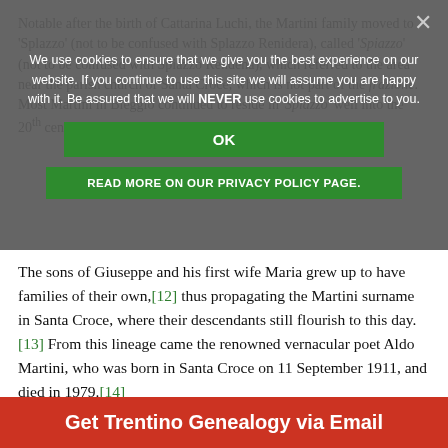Notable after the birth of Cattarina Luchi, the Martini family moved to 'Splazzo' (not to be confused with Splazzo Renidera), called 'Spiazzo' (not to be confused with Spiazzo Rendena), which referred to the area near the parish church of Santa Croce, which is not part of the frazione. Most Martini in Bleggio continued to reside in 'Spiazzo' well into the 20th century.
We use cookies to ensure that we give you the best experience on our website. If you continue to use this site we will assume you are happy with it. Be assured that we will NEVER use cookies to advertise to you.
OK
READ MORE ON OUR PRIVACY POLICY PAGE.
The sons of Giuseppe and his first wife Maria grew up to have families of their own,[12] thus propagating the Martini surname in Santa Croce, where their descendants still flourish to this day.[13] From this lineage came the renowned vernacular poet Aldo Martini, who was born in Santa Croce on 11 September 1911, and died in 1979.[14]
Article continues below...
Get Trentino Genealogy via Email